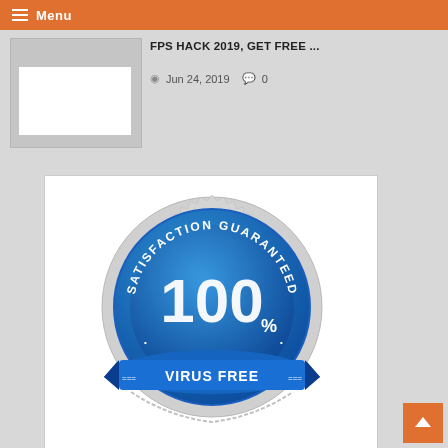≡ Menu
FPS HACK 2019, GET FREE ...
Jun 24, 2019  💬 0
[Figure (illustration): 100% Satisfaction Guaranteed Virus Free badge/seal in blue and silver with ribbon banner]
[Figure (other): Back to top arrow button in orange]